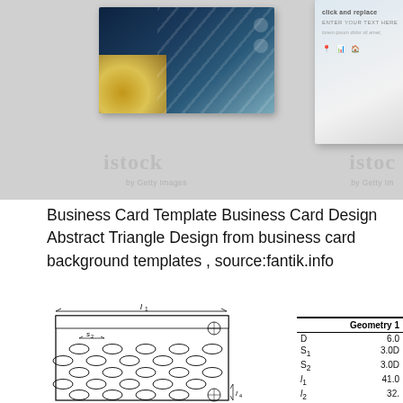[Figure (photo): Two business card template mockups shown — left card has dark teal/navy gradient background with gold lower-left accent and white diagonal lines, right card shows white/grey gradient with placeholder text 'click and replace', 'ENTER YOUR TEXT HERE', 'lorem ipsum dolor sit amet' and icons for location, chart, home. iStock by Getty Images watermarks visible on both.]
Business Card Template Business Card Design Abstract Triangle Design from business card background templates , source:fantik.info
[Figure (engineering-diagram): Engineering diagram showing a perforated plate with oval/elliptical holes arranged in a staggered pattern. Dimension arrows indicate l1 (horizontal span at top), s2 (horizontal spacing between holes), and l4 (vertical dimension at bottom right). A circle symbol with cross (registration mark) appears in top-right and bottom-right corners of the plate.]
|  | Geometry 1 |
| --- | --- |
| D | 6.0 |
| S₁ | 3.0D |
| S₂ | 3.0D |
| l₁ | 41.0 |
| l₂ | 32. |
| l₃ | 6.17D |
| l₄ | 9.83D |
| l₅ | 2.5 |